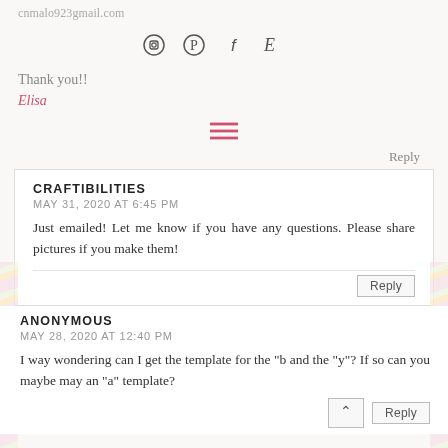cnmalo923gmail.com
[Figure (other): Social media icons: Instagram, Pinterest, Facebook, Etsy]
Thank you!!
Elisa
[Figure (other): Hamburger/menu icon (three horizontal pink lines)]
Reply
CRAFTIBILITIES
MAY 31, 2020 AT 6:45 PM
Just emailed! Let me know if you have any questions. Please share pictures if you make them!
Reply
ANONYMOUS
MAY 28, 2020 AT 12:40 PM
I way wondering can I get the template for the "b and the "y"? If so can you maybe may an "a" template?
Reply